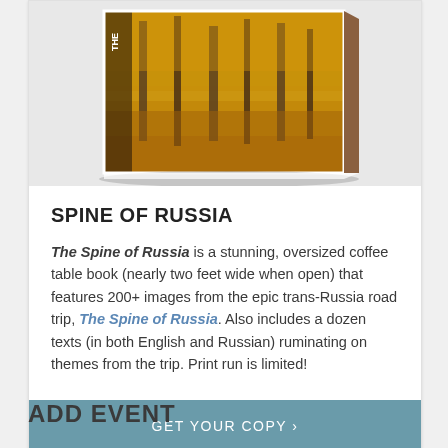[Figure (photo): A hardcover coffee table book titled 'The Spine of Russia' featuring an autumn forest scene with golden foliage on the cover, displayed at an angle showing the spine and front cover.]
SPINE OF RUSSIA
The Spine of Russia is a stunning, oversized coffee table book (nearly two feet wide when open) that features 200+ images from the epic trans-Russia road trip, The Spine of Russia. Also includes a dozen texts (in both English and Russian) ruminating on themes from the trip. Print run is limited!
GET YOUR COPY ›
ADD EVENT